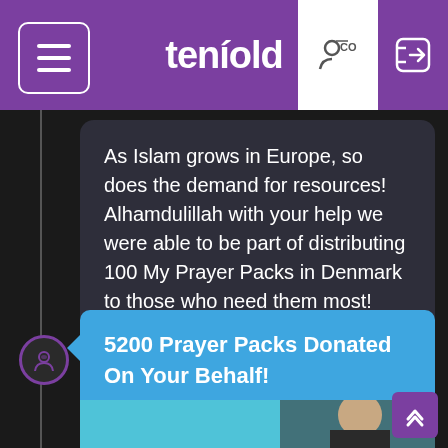tenfold
As Islam grows in Europe, so does the demand for resources! Alhamdulillah with your help we were able to be part of distributing 100 My Prayer Packs in Denmark to those who need them most!
5200 Prayer Packs Donated On Your Behalf!
[Figure (photo): Photo of a man with a beard, partially visible, with a teal/blue background]